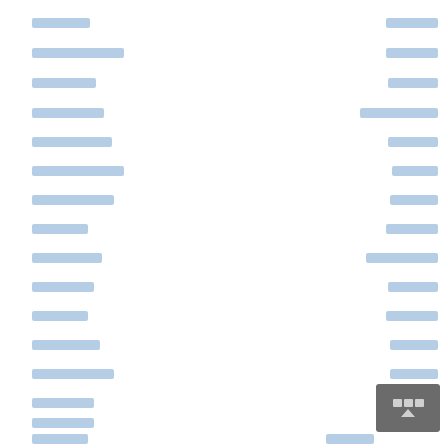[Figure (other): Redacted document page with two columns of redacted text blocks shown as blue-grey rectangles, and a UI button with arrow icon in the bottom right corner.]